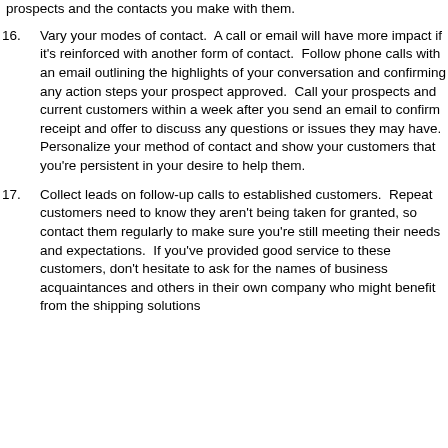prospects and the contacts you make with them.
16. Vary your modes of contact.  A call or email will have more impact if it's reinforced with another form of contact.  Follow phone calls with an email outlining the highlights of your conversation and confirming any action steps your prospect approved.  Call your prospects and current customers within a week after you send an email to confirm receipt and offer to discuss any questions or issues they may have.  Personalize your method of contact and show your customers that you're persistent in your desire to help them.
17. Collect leads on follow-up calls to established customers.  Repeat customers need to know they aren't being taken for granted, so contact them regularly to make sure you're still meeting their needs and expectations.  If you've provided good service to these customers, don't hesitate to ask for the names of business acquaintances and others in their own company who might benefit from the shipping solutions